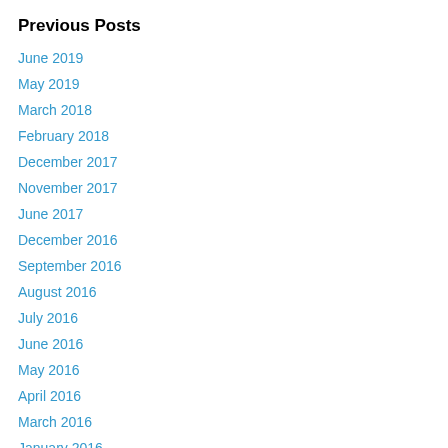Previous Posts
June 2019
May 2019
March 2018
February 2018
December 2017
November 2017
June 2017
December 2016
September 2016
August 2016
July 2016
June 2016
May 2016
April 2016
March 2016
January 2016
December 2015
November 2015